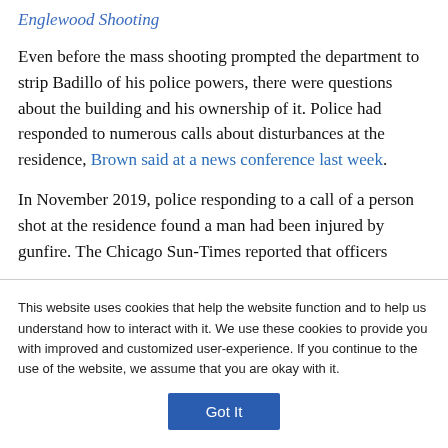Englewood Shooting
Even before the mass shooting prompted the department to strip Badillo of his police powers, there were questions about the building and his ownership of it. Police had responded to numerous calls about disturbances at the residence, Brown said at a news conference last week.
In November 2019, police responding to a call of a person shot at the residence found a man had been injured by gunfire. The Chicago Sun-Times reported that officers
This website uses cookies that help the website function and to help us understand how to interact with it. We use these cookies to provide you with improved and customized user-experience. If you continue to the use of the website, we assume that you are okay with it.
Got It